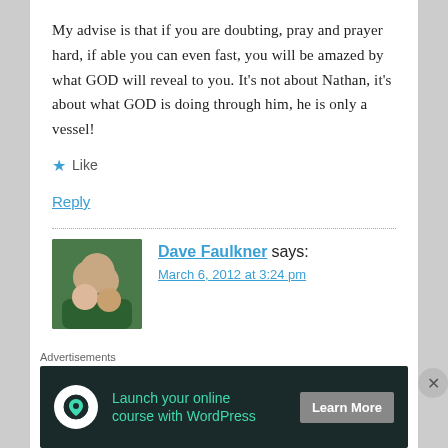My advise is that if you are doubting, pray and prayer hard, if able you can even fast, you will be amazed by what GOD will reveal to you. It’s not about Nathan, it’s about what GOD is doing through him, he is only a vessel!
★ Like
Reply
Dave Faulkner says:
March 6, 2012 at 3:24 pm
[Figure (photo): Profile photo of Dave Faulkner, a couple posing together]
Advertisements
[Figure (infographic): Advertisement banner: Launch your online course with WordPress. Learn More button.]